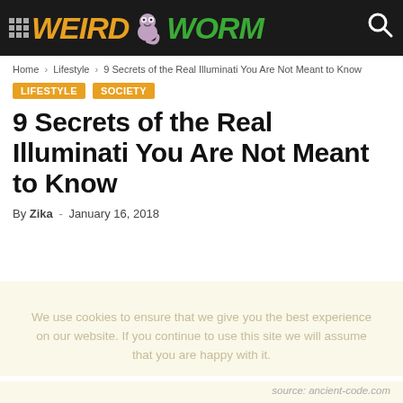WEIRD WORM
Home › Lifestyle › 9 Secrets of the Real Illuminati You Are Not Meant to Know
LIFESTYLE   SOCIETY
9 Secrets of the Real Illuminati You Are Not Meant to Know
By Zika - January 16, 2018
We use cookies to ensure that we give you the best experience on our website. If you continue to use this site we will assume that you are happy with it.
source: ancient-code.com